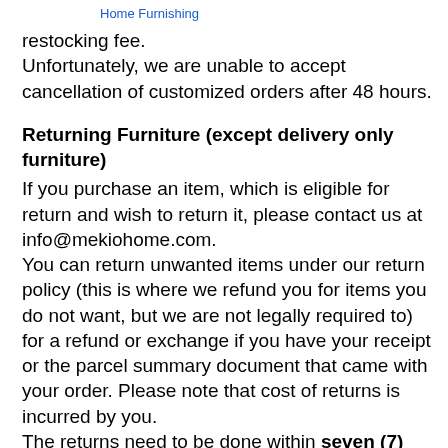Home Furnishing
restocking fee.
Unfortunately, we are unable to accept cancellation of customized orders after 48 hours.
Returning Furniture (except delivery only furniture)
If you purchase an item, which is eligible for return and wish to return it, please contact us at info@mekiohome.com.
You can return unwanted items under our return policy (this is where we refund you for items you do not want, but we are not legally required to) for a refund or exchange if you have your receipt or the parcel summary document that came with your order. Please note that cost of returns is incurred by you.
The returns need to be done within seven (7) days of delivery, unused and in perfect condition in its original, unmarked packaging. We will refund the price you paid for the items, but delivery charges or any duties and